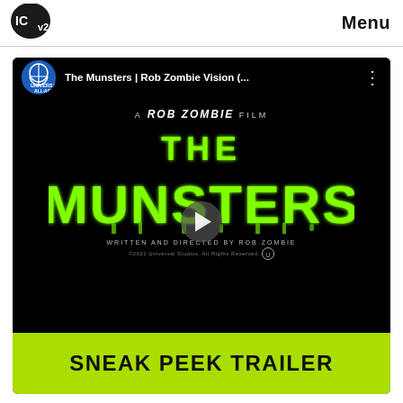ICv2 | Menu
[Figure (screenshot): YouTube video thumbnail for 'The Munsters | Rob Zombie Vision (...' showing a black background with neon green dripping 'THE MUNSTERS' logo text, subtitle 'A ROB ZOMBIE FILM', written and directed by Rob Zombie, Universal Studios. Includes a sneak peek trailer bar in yellow-green at the bottom.]